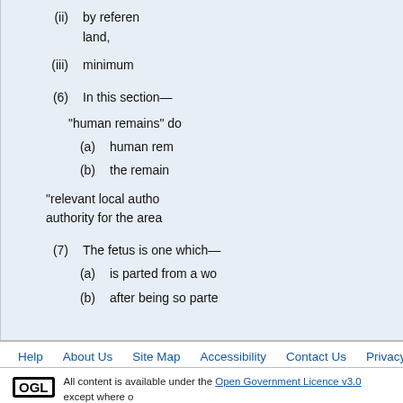(ii) by reference to, land,
(iii) minimum
(6) In this section—
"human remains" do
(a) human rem
(b) the remain
"relevant local authority for the area
(7) The fetus is one which—
(a) is parted from a wo
(b) after being so parte
Previous: Pro
Help  About Us  Site Map  Accessibility  Contact Us  Privacy Notice
All content is available under the Open Government Licence v3.0 except where o... from EUR-Law, reused under the terms of the Commission Decision 2011/833/EU on the r...